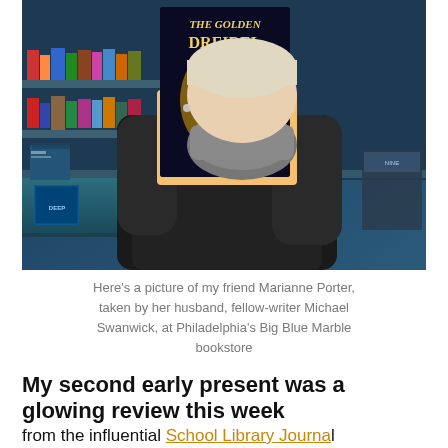[Figure (photo): A person wearing a black mask and dark jacket holds up a copy of 'The Golden Dreidel' by Ellen Klages in a bookstore filled with books on shelves and display tables.]
Here's a picture of my friend Marianne Porter, taken by her husband, fellow-writer Michael Swanwick, at Philadelphia's Big Blue Marble bookstore
My second early present was a glowing review this week
from the influential School Library Journal